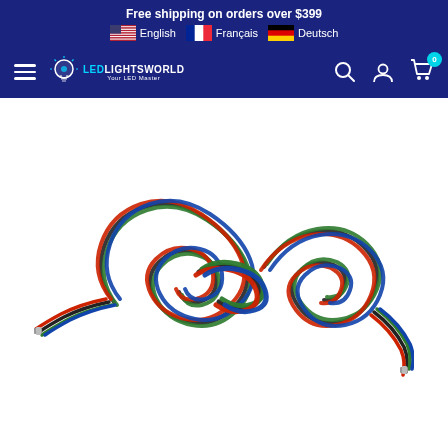Free shipping on orders over $399
English  Français  Deutsch
[Figure (logo): LEDLightsWorld navigation bar with hamburger menu, logo, search, account, and cart icons]
[Figure (photo): Bundle of multi-colored wire (green, red, blue, black) coiled and tied in a loose knot, shown on white background]